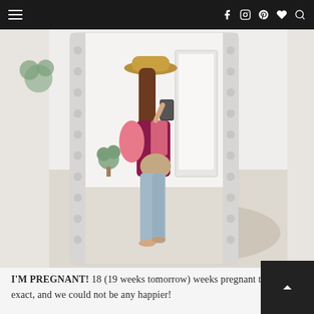Navigation bar with hamburger menu and social icons (Facebook, Instagram, Pinterest, Heart, Search)
[Figure (photo): A woman taking a mirror selfie wearing a pink/maroon color-block sweater, light blue jeans, a tan wide-brim hat, and barefoot. She is visibly pregnant. The mirror has a white decorative frame with bulb-style borders. The room behind her has white walls, carpet, and a plant.]
I'M PREGNANT!  18 (19 weeks tomorrow) weeks pregnant to be exact, and we could not be any happier!